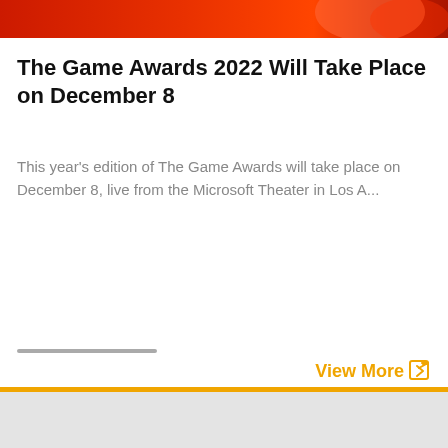[Figure (illustration): Red and orange gradient banner image at the top of the page]
The Game Awards 2022 Will Take Place on December 8
This year's edition of The Game Awards will take place on December 8, live from the Microsoft Theater in Los A...
View More